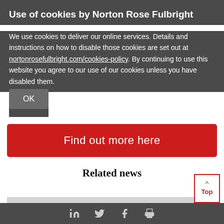Use of cookies by Norton Rose Fulbright
We use cookies to deliver our online services. Details and instructions on how to disable those cookies are set out at nortonrosefulbright.com/cookies-policy. By continuing to use this website you agree to our use of our cookies unless you have disabled them.
OK
Find out more here
Related news
LinkedIn Twitter Facebook Print